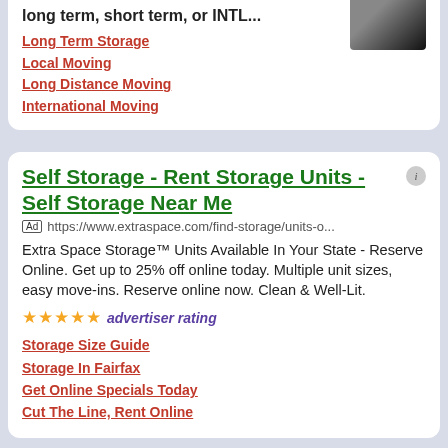long term, short term, or INTL...
Long Term Storage
Local Moving
Long Distance Moving
International Moving
Self Storage - Rent Storage Units - Self Storage Near Me
Ad https://www.extraspace.com/find-storage/units-o...
Extra Space Storage™ Units Available In Your State - Reserve Online. Get up to 25% off online today. Multiple unit sizes, easy move-ins. Reserve online now. Clean & Well-Lit.
★★★★★ advertiser rating
Storage Size Guide
Storage In Fairfax
Get Online Specials Today
Cut The Line, Rent Online